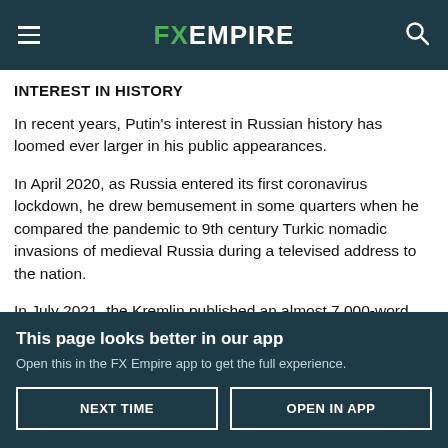FX EMPIRE
INTEREST IN HISTORY
In recent years, Putin's interest in Russian history has loomed ever larger in his public appearances.
In April 2020, as Russia entered its first coronavirus lockdown, he drew bemusement in some quarters when he compared the pandemic to 9th century Turkic nomadic invasions of medieval Russia during a televised address to the nation.
In July 2021, the Kremlin published an almost 7,000-word
This page looks better in our app
Open this in the FX Empire app to get the full experience.
NEXT TIME   OPEN IN APP